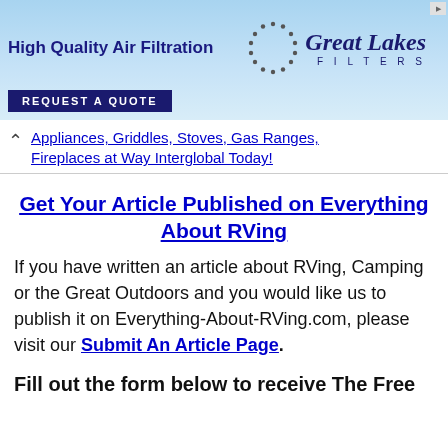[Figure (other): Advertisement banner for Great Lakes Filters - High Quality Air Filtration with REQUEST A QUOTE button]
Appliances, Griddles, Stoves, Gas Ranges, Fireplaces at Way Interglobal Today!
Get Your Article Published on Everything About RVing
If you have written an article about RVing, Camping or the Great Outdoors and you would like us to publish it on Everything-About-RVing.com, please visit our Submit An Article Page.
Fill out the form below to receive The Free